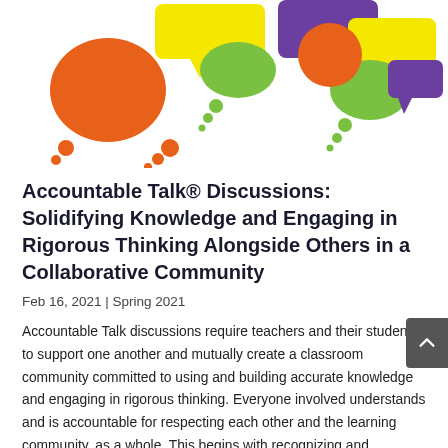[Figure (illustration): Colorful speech bubbles and thought bubbles in orange, yellow, green, and purple on a white background, arranged decoratively at the top of the page.]
Accountable Talk® Discussions: Solidifying Knowledge and Engaging in Rigorous Thinking Alongside Others in a Collaborative Community
Feb 16, 2021 | Spring 2021
Accountable Talk discussions require teachers and their students to support one another and mutually create a classroom community committed to using and building accurate knowledge and engaging in rigorous thinking. Everyone involved understands and is accountable for respecting each other and the learning community, as a whole. This begins with recognizing and honoring each person's different lived experiences because every person brings vital knowledge and valuable assets to the